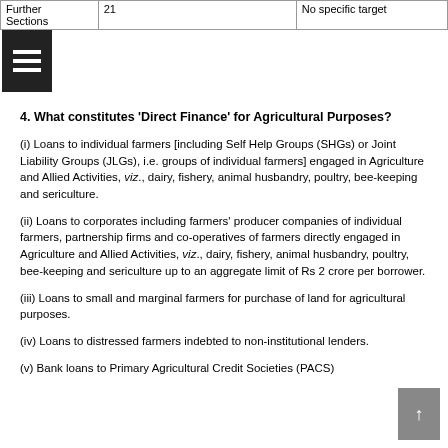| Further Sections | 21 | No specific target |
| --- | --- | --- |
4. What constitutes 'Direct Finance' for Agricultural Purposes?
(i) Loans to individual farmers [including Self Help Groups (SHGs) or Joint Liability Groups (JLGs), i.e. groups of individual farmers] engaged in Agriculture and Allied Activities, viz., dairy, fishery, animal husbandry, poultry, bee-keeping and sericulture.
(ii) Loans to corporates including farmers' producer companies of individual farmers, partnership firms and co-operatives of farmers directly engaged in Agriculture and Allied Activities, viz., dairy, fishery, animal husbandry, poultry, bee-keeping and sericulture up to an aggregate limit of Rs 2 crore per borrower.
(iii) Loans to small and marginal farmers for purchase of land for agricultural purposes.
(iv) Loans to distressed farmers indebted to non-institutional lenders.
(v) Bank loans to Primary Agricultural Credit Societies (PACS)